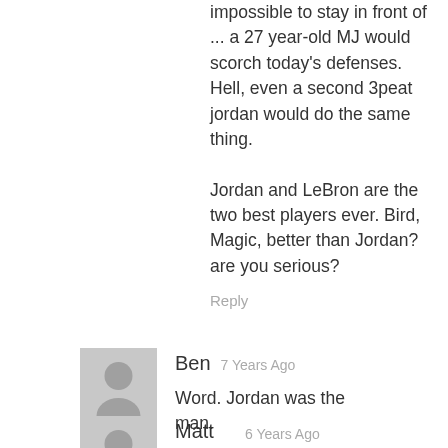impossible to stay in front of ... a 27 year-old MJ would scorch today's defenses. Hell, even a second 3peat jordan would do the same thing.

Jordan and LeBron are the two best players ever. Bird, Magic, better than Jordan? are you serious?
Reply
Ben  7 Years Ago
Word. Jordan was the man.
Matt  6 Years Ago